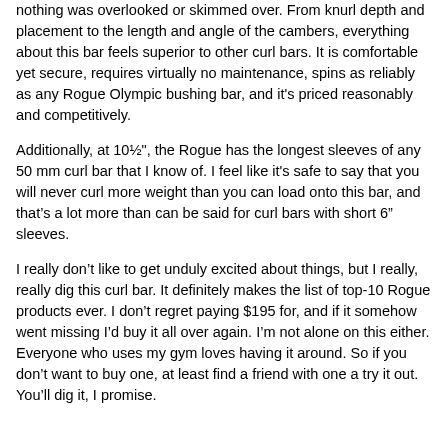nothing was overlooked or skimmed over. From knurl depth and placement to the length and angle of the cambers, everything about this bar feels superior to other curl bars. It is comfortable yet secure, requires virtually no maintenance, spins as reliably as any Rogue Olympic bushing bar, and it's priced reasonably and competitively.
Additionally, at 10½", the Rogue has the longest sleeves of any 50 mm curl bar that I know of. I feel like it's safe to say that you will never curl more weight than you can load onto this bar, and that's a lot more than can be said for curl bars with short 6" sleeves.
I really don't like to get unduly excited about things, but I really, really dig this curl bar. It definitely makes the list of top-10 Rogue products ever. I don't regret paying $195 for, and if it somehow went missing I'd buy it all over again. I'm not alone on this either. Everyone who uses my gym loves having it around. So if you don't want to buy one, at least find a friend with one a try it out. You'll dig it, I promise.